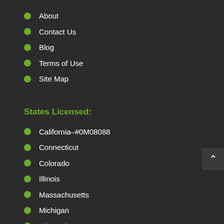About
Contact Us
Blog
Terms of Use
Site Map
States Licensed:
California–#0M08088
Connecticut
Colorado
Illinois
Massachusetts
Michigan
Missouri
Nevada
New Mexico
New Jersey
Oklahoma